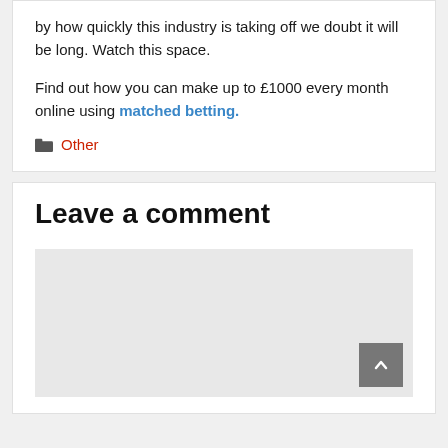by how quickly this industry is taking off we doubt it will be long. Watch this space.
Find out how you can make up to £1000 every month online using matched betting.
Other
Leave a comment